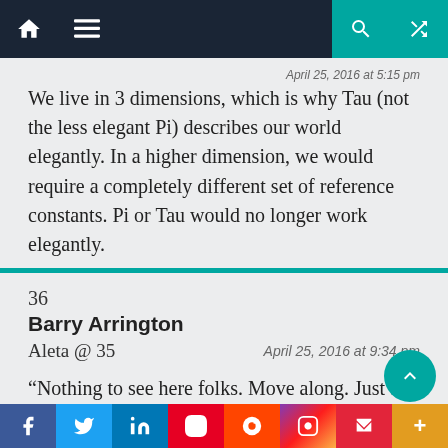Navigation bar with home, menu, search, and shuffle icons
We live in 3 dimensions, which is why Tau (not the less elegant Pi) describes our world elegantly. In a higher dimension, we would require a completely different set of reference constants. Pi or Tau would no longer work elegantly.
April 25, 2016 at 5:15 pm
36
Barry Arrington
Aleta @ 35
April 25, 2016 at 9:34 pm
“Nothing to see here folks. Move along. Just a sequence that shows up everywhere in the universe for no apparent reason.”
Social share bar: Facebook, Twitter, LinkedIn, Pinterest, Reddit, Instagram, Flipboard, More